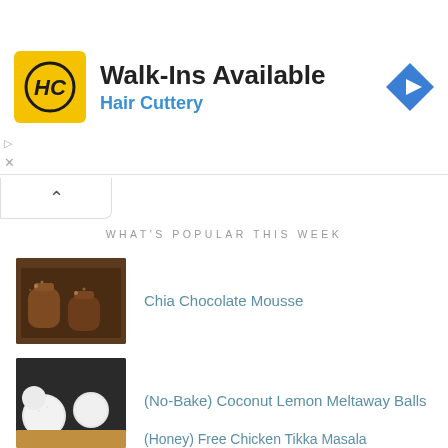[Figure (screenshot): Hair Cuttery advertisement banner with yellow logo, 'Walk-Ins Available' headline, blue navigation arrow icon]
WHAT'S POPULAR THIS WEEK
Chia Chocolate Mousse
(No-Bake) Coconut Lemon Meltaway Balls
(Honey) Free Chicken Tikka Masala